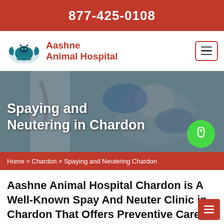877-425-0108
[Figure (logo): Aashne Animal Hospital logo with teal hands holding a cat and dog silhouette]
Spaying and Neutering in Chardon
Home > Chardon > Spaying and Neutering Chardon
Aashne Animal Hospital Chardon is A Well-Known Spay And Neuter Clinic in Chardon That Offers Preventive Care Services. Spaying